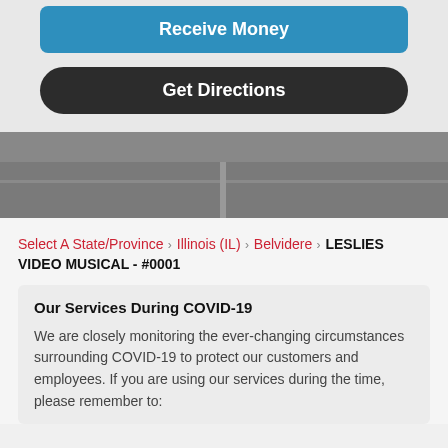[Figure (screenshot): Blue 'Receive Money' button]
[Figure (screenshot): Dark 'Get Directions' button]
[Figure (map): Partial map view in background]
Select A State/Province > Illinois (IL) > Belvidere > LESLIES VIDEO MUSICAL - #0001
Our Services During COVID-19
We are closely monitoring the ever-changing circumstances surrounding COVID-19 to protect our customers and employees. If you are using our services during the time, please remember to: